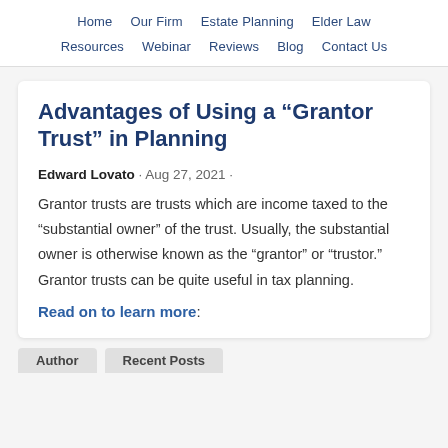Home  Our Firm  Estate Planning  Elder Law  Resources  Webinar  Reviews  Blog  Contact Us
Advantages of Using a “Grantor Trust” in Planning
Edward Lovato · Aug 27, 2021 ·
Grantor trusts are trusts which are income taxed to the “substantial owner” of the trust. Usually, the substantial owner is otherwise known as the “grantor” or “trustor.” Grantor trusts can be quite useful in tax planning.
Read on to learn more:
Author  Recent Posts